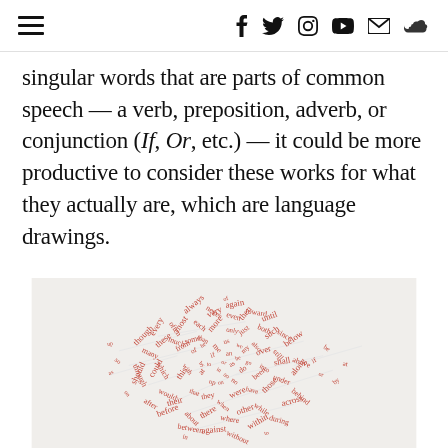[navigation bar with hamburger menu and social icons: f, twitter, instagram, youtube, email, soundcloud]
singular words that are parts of common speech — a verb, preposition, adverb, or conjunction (If, Or, etc.) — it could be more productive to consider these works for what they actually are, which are language drawings.
[Figure (illustration): Abstract artwork showing a dense circular cluster of small red/orange letterforms and marks radiating outward from the center, resembling a dandelion or burst pattern, on a light grey background. The marks appear to be handwritten or typographic characters arranged in an organic radial composition.]